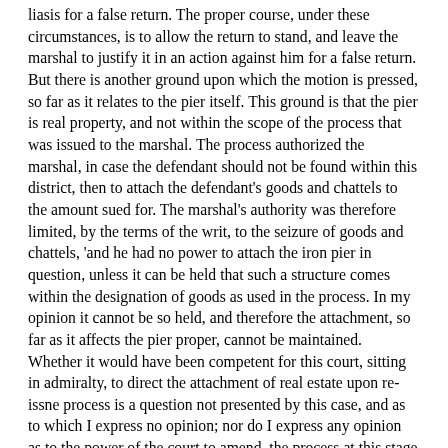liasis for a false return. The proper course, under these circumstances, is to allow the return to stand, and leave the marshal to justify it in an action against him for a false return. But there is another ground upon which the motion is pressed, so far as it relates to the pier itself. This ground is that the pier is real property, and not within the scope of the process that was issued to the marshal. The process authorized the marshal, in case the defendant should not be found within this district, then to attach the defendant's goods and chattels to the amount sued for. The marshal's authority was therefore limited, by the terms of the writ, to the seizure of goods and chattels, 'and he had no power to attach the iron pier in question, unless it can be held that such a structure comes within the designation of goods as used in the process. In my opinion it cannot be so held, and therefore the attachment, so far as it affects the pier proper, cannot be maintained. Whether it would have been competent for this court, sitting in admiralty, to direct the attachment of real estate upon re-issne process is a question not presented by this case, and as to which I express no opinion; nor do I express any opinion as to the power of the court to amend ,the process at this stage of the cause, for such amendment, if now made, would be of no benefit to the libellant, as the defendants now stand ready. to enter their appearance. The objection that the question whether the pier